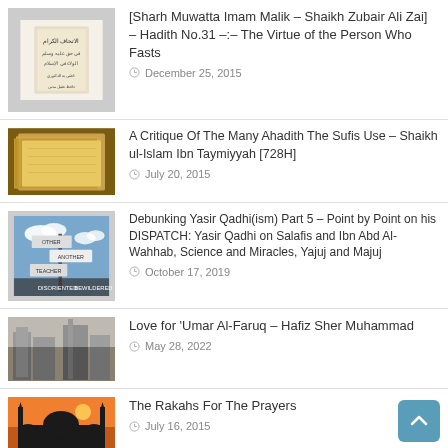[Sharh Muwatta Imam Malik – Shaikh Zubair Ali Zai] – Hadith No.31 –:– The Virtue of the Person Who Fasts
A Critique Of The Many Ahadith The Sufis Use – Shaikh ul-Islam Ibn Taymiyyah [728H]
Debunking Yasir Qadhi(ism) Part 5 – Point by Point on his DISPATCH: Yasir Qadhi on Salafis and Ibn Abd Al-Wahhab, Science and Miracles, Yajuj and Majuj
Love for 'Umar Al-Faruq – Hafiz Sher Muhammad
The Rakahs For The Prayers
Seeking Blessings (Tabarruk) from the Relics of Saints and Righteous People – Shaikh Abdul Aziz ibn…